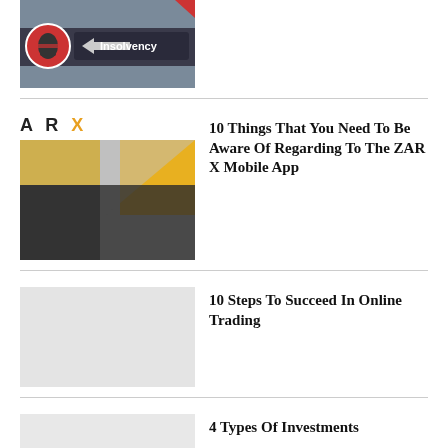[Figure (photo): Partial image of an Insolvency road sign with a no-entry hand symbol]
[Figure (photo): ARX logo above a geometric diamond pattern image in grey, yellow and dark grey/black]
10 Things That You Need To Be Aware Of Regarding To The ZAR X Mobile App
[Figure (photo): Placeholder image for 10 Steps To Succeed In Online Trading article]
10 Steps To Succeed In Online Trading
4 Types Of Investments